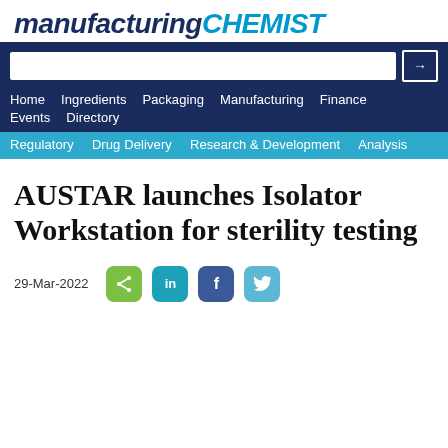manufacturing CHEMIST
Home  Ingredients  Packaging  Manufacturing  Finance  Events  Directory
Regulatory  Drug Delivery  Research & Development  Analysis
AUSTAR launches Isolator Workstation for sterility testing
29-Mar-2022